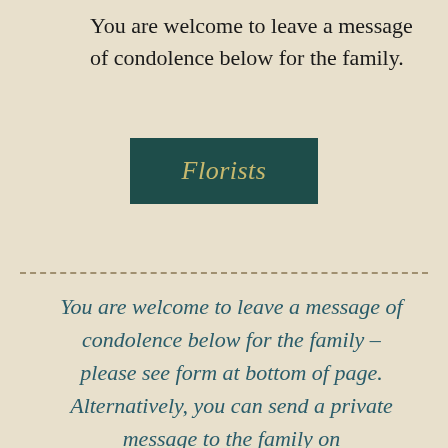You are welcome to leave a message of condolence below for the family.
[Figure (other): Teal/dark green button with italic gold text reading 'Florists']
You are welcome to leave a message of condolence below for the family – please see form at bottom of page. Alternatively, you can send a private message to the family on